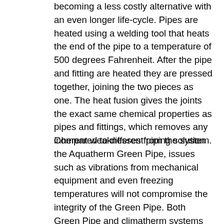becoming a less costly alternative with an even longer life-cycle. Pipes are heated using a welding tool that heats the end of the pipe to a temperature of 500 degrees Fahrenheit. After the pipe and fitting are heated they are pressed together, joining the two pieces as one. The heat fusion gives the joints the exact same chemical properties as pipes and fittings, which removes any inherent weaknesses from the system.
Compared to different piping solution the Aquatherm Green Pipe, issues such as vibrations from mechanical equipment and even freezing temperatures will not compromise the integrity of the Green Pipe. Both Green Pipe and climatherm systems incorporate faser-composite technology allowing them to withstand temperatures up to 185 degrees Fahrenheit. These new piping systems are designed to last for a 50 year life-cycle and beyond. Properly installed systems carry a 10 year warranty for property damage liability caused